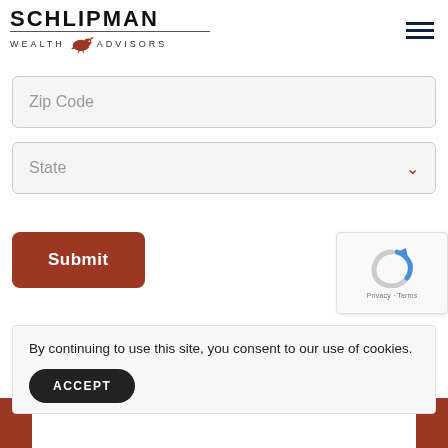[Figure (logo): Schlipman Wealth Advisors logo with bull icon]
[Figure (other): Hamburger menu icon (three horizontal lines)]
Zip Code
State
Submit
[Figure (other): reCAPTCHA widget with rotating arrow icon, Privacy and Terms links]
By continuing to use this site, you consent to our use of cookies.
ACCEPT